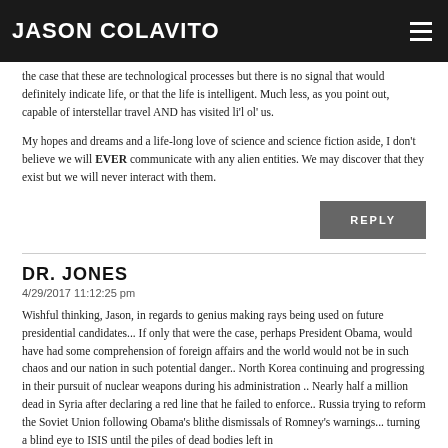JASON COLAVITO
the case that these are technological processes but there is no signal that would definitely indicate life, or that the life is intelligent. Much less, as you point out, capable of interstellar travel AND has visited li'l ol' us.
My hopes and dreams and a life-long love of science and science fiction aside, I don't believe we will EVER communicate with any alien entities. We may discover that they exist but we will never interact with them.
REPLY
DR. JONES
4/29/2017 11:12:25 pm
Wishful thinking, Jason, in regards to genius making rays being used on future presidential candidates... If only that were the case, perhaps President Obama, would have had some comprehension of foreign affairs and the world would not be in such chaos and our nation in such potential danger.. North Korea continuing and progressing in their pursuit of nuclear weapons during his administration .. Nearly half a million dead in Syria after declaring a red line that he failed to enforce.. Russia trying to reform the Soviet Union following Obama's blithe dismissals of Romney's warnings... turning a blind eye to ISIS until the piles of dead bodies left in